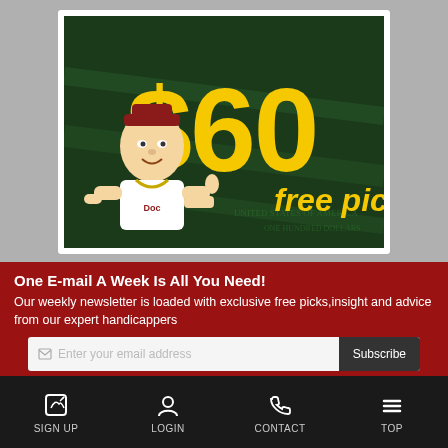[Figure (illustration): Advertisement banner showing '$60 free picks' in large yellow text on a dark green background with dollar bills, featuring a cartoon doctor/handicapper character giving a thumbs up]
One E-mail A Week Is All You Need!
Our weekly newsletter is loaded with exclusive free picks,insight and advice from our expert handicappers
SIGN UP   LOGIN   CONTACT   TOP